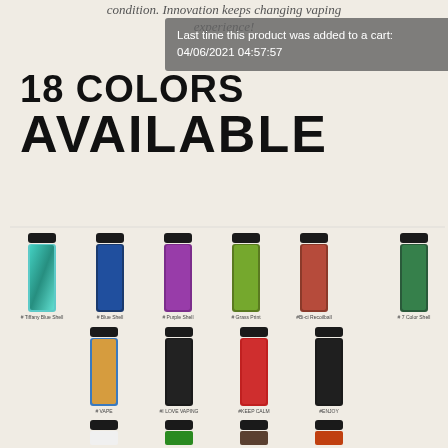condition. Innovation keeps changing vaping experience!
Last time this product was added to a cart: 04/06/2021 04:57:57
18 COLORS AVAILABLE
[Figure (photo): Grid of 18 vape pod device color variants arranged in 3 rows, each with a colored/patterned body and black mouthpiece cap, with small labels below each device including: #Tiffany Blue Shell, #Blue Shell, #Purple Shell, #Grass Print, #Bi-ci Recoilball, #7 Color Shell, #VAPE, #I LOVE VAPING, #KEEP CALM, #ENJOY, and additional variants in the third row]